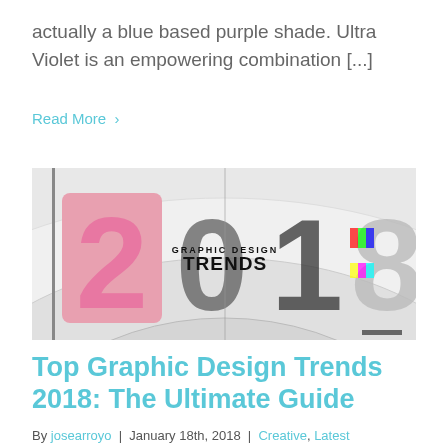actually a blue based purple shade. Ultra Violet is an empowering combination [...]
Read More >
[Figure (photo): Graphic Design Trends 2018 promotional image showing the year '2018' formed by large typographic numbers filled with fashion model photographs, glitch effects, and the text 'GRAPHIC DESIGN TRENDS' overlaid on a white curved architectural background.]
Top Graphic Design Trends 2018: The Ultimate Guide
By josearroyo | January 18th, 2018 | Creative, Latest